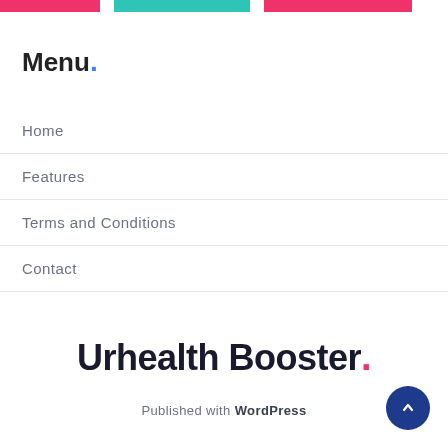Navigation top bar with colored segments
Menu.
Home
Features
Terms and Conditions
Contact
Urhealth Booster.
Published with WordPress